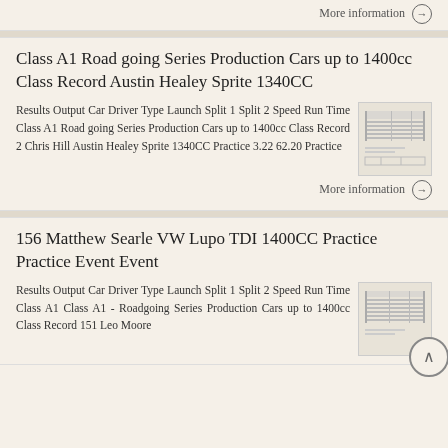More information →
Class A1 Road going Series Production Cars up to 1400cc Class Record Austin Healey Sprite 1340CC
Results Output Car Driver Type Launch Split 1 Split 2 Speed Run Time Class A1 Road going Series Production Cars up to 1400cc Class Record 2 Chris Hill Austin Healey Sprite 1340CC Practice 3.22 62.20 Practice
[Figure (table-as-image): Small table/results image thumbnail]
More information →
156 Matthew Searle VW Lupo TDI 1400CC Practice Practice Event Event
Results Output Car Driver Type Launch Split 1 Split 2 Speed Run Time Class A1 Class A1 - Roadgoing Series Production Cars up to 1400cc Class Record 151 Leo Moore
[Figure (table-as-image): Small table/results image thumbnail]